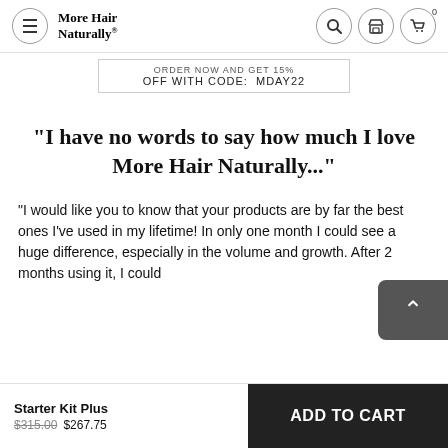More Hair Naturally
ORDER NOW AND GET 15% OFF WITH CODE: MDAY22
"I have no words to say how much I love More Hair Naturally..."
"I would like you to know that your products are by far the best ones I've used in my lifetime! In only one month I could see a huge difference, especially in the volume and growth. After 2 months using it, I could
Starter Kit Plus $315.00 $267.75
ADD TO CART